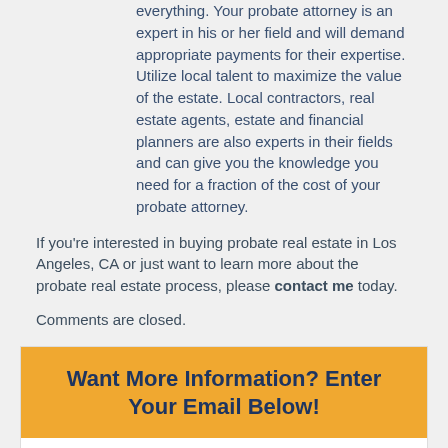everything. Your probate attorney is an expert in his or her field and will demand appropriate payments for their expertise. Utilize local talent to maximize the value of the estate. Local contractors, real estate agents, estate and financial planners are also experts in their fields and can give you the knowledge you need for a fraction of the cost of your probate attorney.
If you're interested in buying probate real estate in Los Angeles, CA or just want to learn more about the probate real estate process, please contact me today.
Comments are closed.
Want More Information? Enter Your Email Below!
Receive the latest information regarding properties and other opportunities!